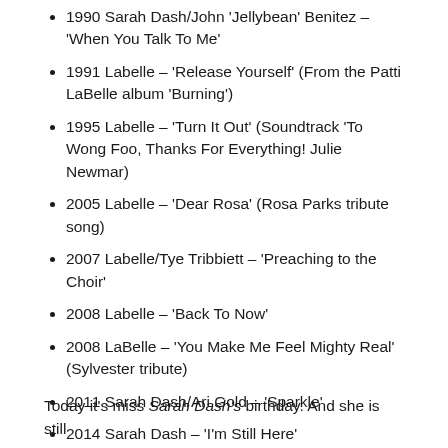1990 Sarah Dash/John 'Jellybean' Benitez – 'When You Talk To Me'
1991 Labelle – 'Release Yourself' (From the Patti LaBelle album 'Burning')
1995 Labelle – 'Turn It Out' (Soundtrack 'To Wong Foo, Thanks For Everything! Julie Newmar)
2005 Labelle – 'Dear Rosa' (Rosa Parks tribute song)
2007 Labelle/Tye Tribbiett – 'Preaching to the Choir'
2008 Labelle – 'Back To Now'
2008 LaBelle – 'You Make Me Feel Mighty Real' (Sylvester tribute)
2011 Sarah Dash/Ari Gold – 'Sparkle'
2014 Sarah Dash – 'I'm Still Here'
Today it's miss Sarah Dash's birthday. And she is still